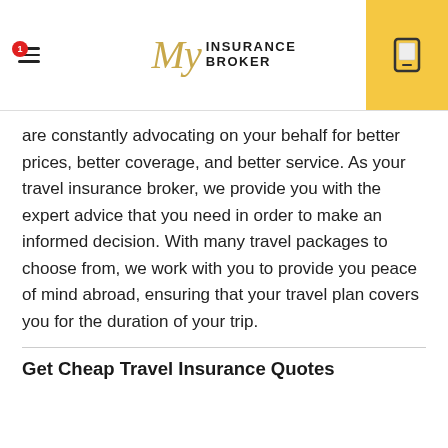My Insurance Broker
are constantly advocating on your behalf for better prices, better coverage, and better service. As your travel insurance broker, we provide you with the expert advice that you need in order to make an informed decision. With many travel packages to choose from, we work with you to provide you peace of mind abroad, ensuring that your travel plan covers you for the duration of your trip.
Get Cheap Travel Insurance Quotes